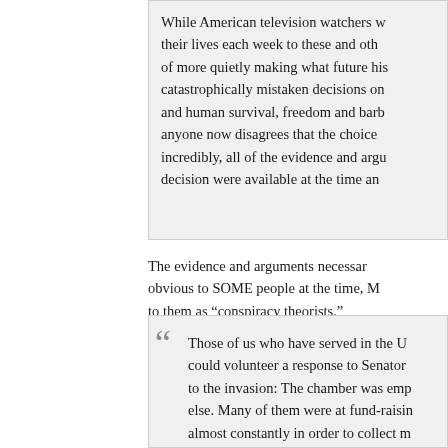While American television watchers w... their lives each week to these and oth... of more quietly making what future his... catastrophically mistaken decisions on... and human survival, freedom and barb... anyone now disagrees that the choice... incredibly, all of the evidence and argu... decision were available at the time an...
The evidence and arguments necessary obvious to SOME people at the time, M to them as “conspiracy theorists.”
Those of us who have served in the U could volunteer a response to Senator to the invasion: The chamber was emp else. Many of them were at fund-raisin almost constantly in order to collect m 30-second TV commercials for their n